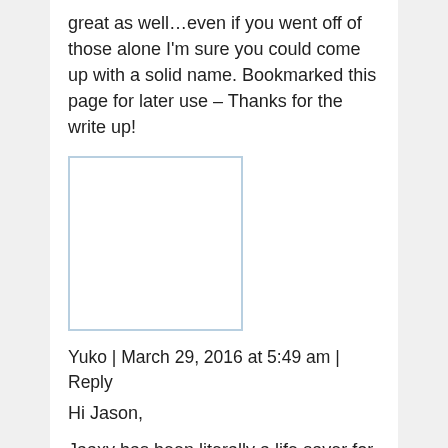great as well…even if you went off of those alone I'm sure you could come up with a solid name. Bookmarked this page for later use – Thanks for the write up!
[Figure (other): User avatar placeholder — empty white rectangle with light blue border]
Yuko | March 29, 2016 at 5:49 am | Reply
Hi Jason,
Jaaxy has been literally a life saver for my online business. I use it for everything: brainstorming, getting an idea for a new blog post, checking the keyword value of a new title, checking the current rankings for each page I created, etc.